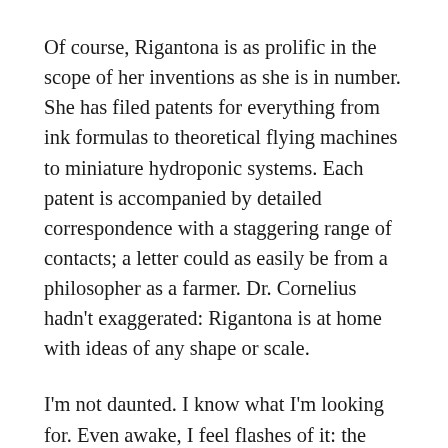Of course, Rigantona is as prolific in the scope of her inventions as she is in number. She has filed patents for everything from ink formulas to theoretical flying machines to miniature hydroponic systems. Each patent is accompanied by detailed correspondence with a staggering range of contacts; a letter could as easily be from a philosopher as a farmer. Dr. Cornelius hadn't exaggerated: Rigantona is at home with ideas of any shape or scale.
I'm not daunted. I know what I'm looking for. Even awake, I feel flashes of it: the glowing orb on its pillar, the ozone smell, the pearlescent light. The long run through the dark.